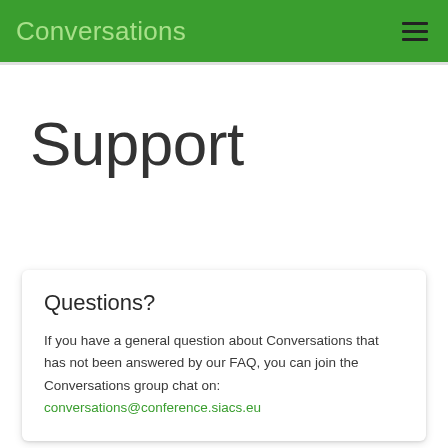Conversations
Support
Questions?
If you have a general question about Conversations that has not been answered by our FAQ, you can join the Conversations group chat on: conversations@conference.siacs.eu